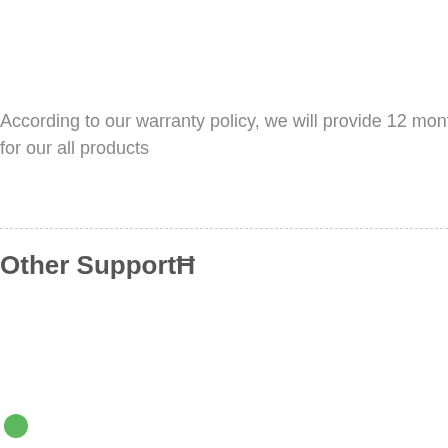According to our warranty policy, we will provide 12 months warranty for our all products
Other SupportĦ